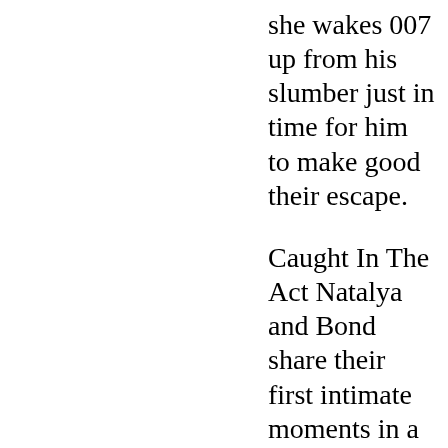she wakes 007 up from his slumber just in time for him to make good their escape.
Caught In The Act Natalya and Bond share their first intimate moments in a Cuban beach house